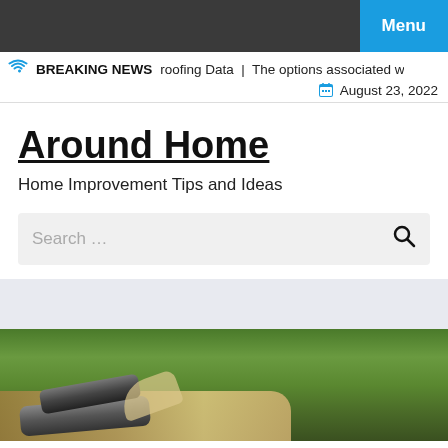Menu
BREAKING NEWS  roofing Data  |  The options associated w  August 23, 2022
Around Home
Home Improvement Tips and Ideas
Search …
[Figure (photo): Outdoor photo showing muddy brown water flowing from large metal pipes onto green grassy area]